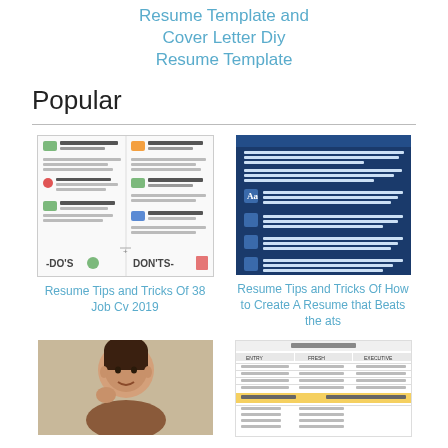Resume Template and Cover Letter Diy Resume Template
Popular
[Figure (screenshot): Thumbnail image of a Resume Tips Do's and Don'ts infographic with two columns]
Resume Tips and Tricks Of 38 Job Cv 2019
[Figure (screenshot): Thumbnail image of blue background resume tips text about ATS resume screening]
Resume Tips and Tricks Of How to Create A Resume that Beats the ats
[Figure (photo): Photo of a person (woman) resting chin on hand]
[Figure (screenshot): Thumbnail of a resume template table with columns for Entry, Fresh, Executive]